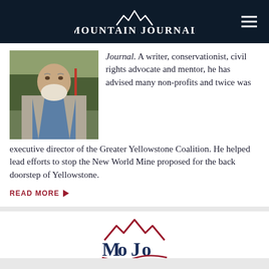Mountain Journal
[Figure (photo): Outdoor portrait of an older man with a white beard wearing a grey blazer and blue collared shirt]
Journal. A writer, conservationist, civil rights advocate and mentor, he has advised many non-profits and twice was executive director of the Greater Yellowstone Coalition. He helped lead efforts to stop the New World Mine proposed for the back doorstep of Yellowstone.
READ MORE ▶
[Figure (logo): Mountain Journal (MoJo) logo with mountain peak icon in dark red and blue lettering]